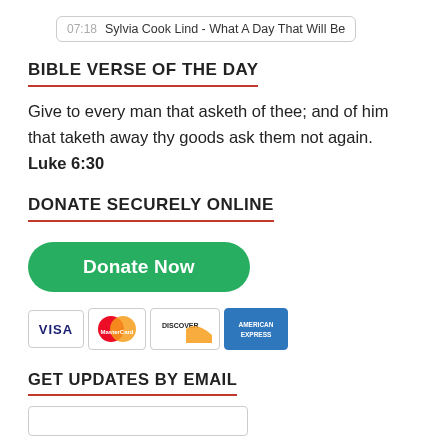[Figure (other): Audio player bar showing '07:18  Sylvia Cook Lind - What A Day That Will Be']
BIBLE VERSE OF THE DAY
Give to every man that asketh of thee; and of him that taketh away thy goods ask them not again.
Luke 6:30
DONATE SECURELY ONLINE
[Figure (other): Green 'Donate Now' button followed by credit card icons: VISA, MasterCard, Discover, American Express]
GET UPDATES BY EMAIL
[Figure (other): Email input text field]